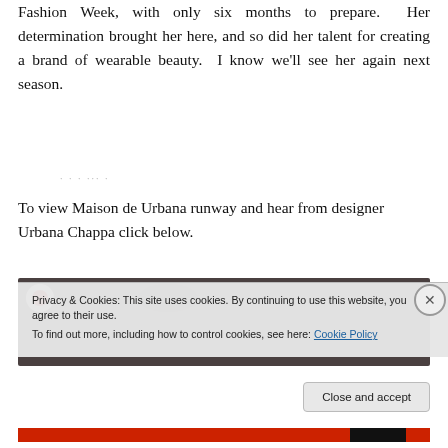Fashion Week, with only six months to prepare.  Her determination brought her here, and so did her talent for creating a brand of wearable beauty.  I know we'll see her again next season.
To view Maison de Urbana runway and hear from designer Urbana Chappa click below.
[Figure (screenshot): Video thumbnail showing a dark background with circular logo and hat silhouette]
Privacy & Cookies: This site uses cookies. By continuing to use this website, you agree to their use.
To find out more, including how to control cookies, see here: Cookie Policy
Close and accept